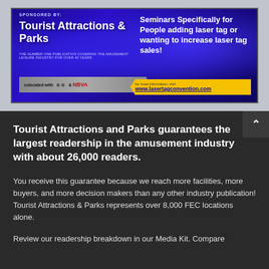[Figure (illustration): Advertisement banner for Tourist Attractions & Parks magazine promoting a laser tag convention. Blue/purple gradient background with white text showing 'SPONSORED BY: Tourist Attractions & Parks', seminars information, NBVA co-location, and website www.lasertagconvention.com]
Tourist Attractions and Parks guarantees the largest readership in the amusement industry with about 26,000 readers.
You receive this guarantee because we reach more facilities, more buyers, and more decision makers than any other industry publication! Tourist Attractions & Parks represents over 8,000 FEC locations alone.
Review our readership breakdown in our Media Kit. Compare